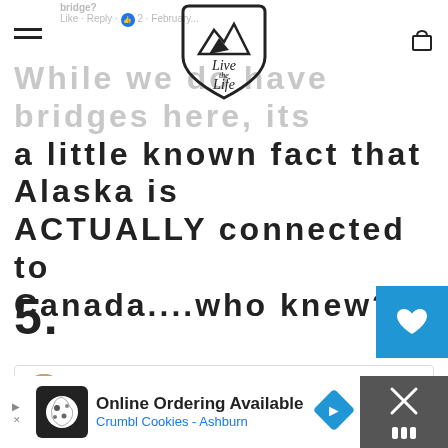Live The Life (logo with navigation)
While we do have bridges here, its a little known fact that Alaska is ACTUALLY connected to Canada....who knew?!
5.
Chris Knowles In Valdez in February: What do they do with all this snow in the summertime? Like · Reply · 3 · February 8 at 1:52pm
[Figure (infographic): Advertisement bar: Online Ordering Available - Crumbl Cookies - Ashburn with cookie logo and navigation arrow icon]